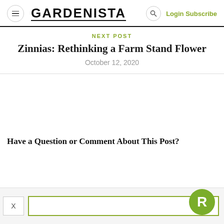GARDENISTA — Login Subscribe
NEXT POST
Zinnias: Rethinking a Farm Stand Flower
October 12, 2020
Have a Question or Comment About This Post?